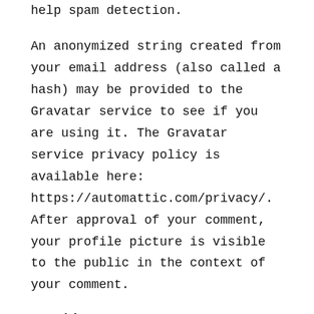help spam detection.
An anonymized string created from your email address (also called a hash) may be provided to the Gravatar service to see if you are using it. The Gravatar service privacy policy is available here: https://automattic.com/privacy/. After approval of your comment, your profile picture is visible to the public in the context of your comment.
Media
If you upload images to the website, you should avoid uploading images with embedded location data (EXIF GPS) included. Visitors to the website can download and extract any location data from